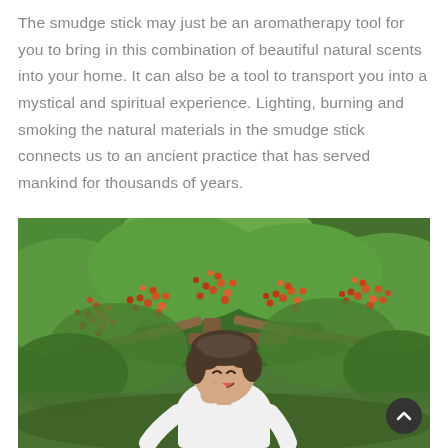The smudge stick may just be an aromatherapy tool for you to bring in this combination of beautiful natural scents into your home. It can also be a tool to transport you into a mystical and spiritual experience. Lighting, burning and smoking the natural materials in the smudge stick connects us to an ancient practice that has served mankind for thousands of years.
[Figure (photo): A smiling woman with short hair in a white top standing in front of a tree with hanging clusters of red/orange berries or fruit, surrounded by lush green foliage outdoors.]